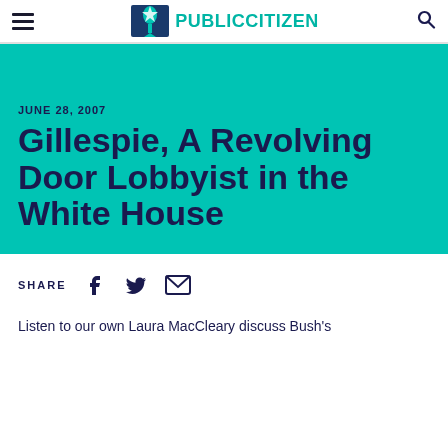PUBLIC CITIZEN
JUNE 28, 2007
Gillespie, A Revolving Door Lobbyist in the White House
SHARE
Listen to our own Laura MacCleary discuss Bush's